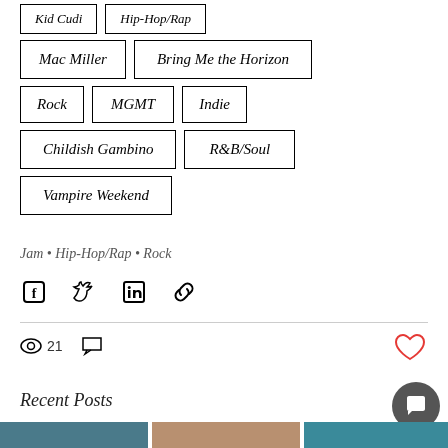Kid Cudi
Hip-Hop/Rap
Mac Miller
Bring Me the Horizon
Rock
MGMT
Indie
Childish Gambino
R&B/Soul
Vampire Weekend
Jam • Hip-Hop/Rap • Rock
21 views, 0 comments, heart/like button
Recent Posts
See All